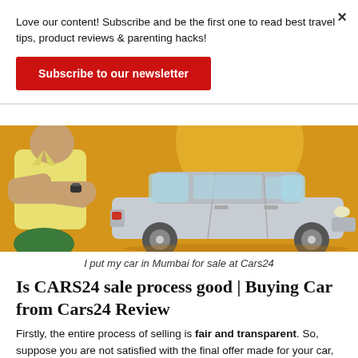Love our content! Subscribe and be the first one to read best travel tips, product reviews & parenting hacks!
Subscribe to our newsletter
[Figure (photo): Man in yellow shirt with arms crossed standing next to a silver car on an orange background]
I put my car in Mumbai for sale at Cars24
Is CARS24 sale process good | Buying Car from Cars24 Review
Firstly, the entire process of selling is fair and transparent. So, suppose you are not satisfied with the final offer made for your car, you can